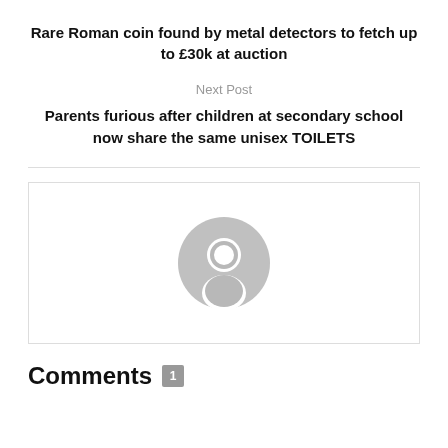Rare Roman coin found by metal detectors to fetch up to £30k at auction
Next Post
Parents furious after children at secondary school now share the same unisex TOILETS
[Figure (illustration): Generic user avatar icon — grey silhouette of a person inside a grey circle, on white background inside a bordered box]
Comments 1